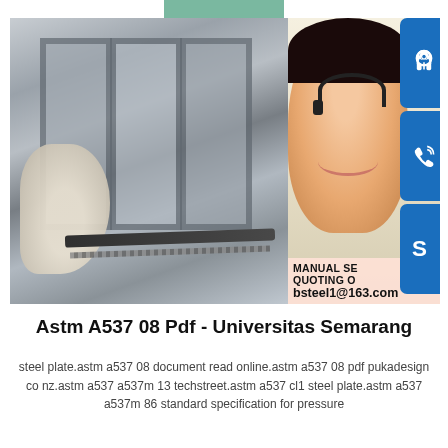[Figure (photo): Composite image: left side shows steel plates/sections being measured with a ruler and gloved hand; right side shows a woman with a headset (customer service), with three blue icon boxes on far right showing headset, phone, and Skype icons. Overlay text reads 'MANUAL SE...', 'QUOTING O...', 'bsteel1@163.com'.]
Astm A537 08 Pdf - Universitas Semarang
steel plate.astm a537 08 document read online.astm a537 08 pdf pukadesign co nz.astm a537 a537m 13 techstreet.astm a537 cl1 steel plate.astm a537 a537m 86 standard specification for pressure